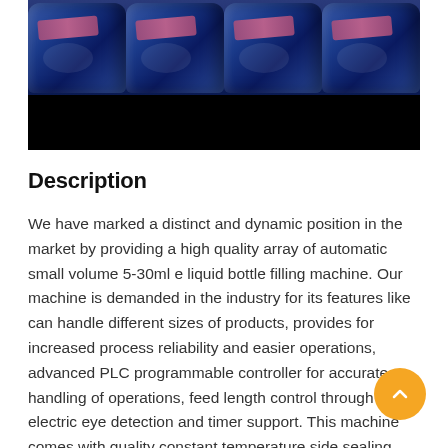[Figure (photo): Rows of blue bottles/containers on a dark background, representing automatic small volume 5-30ml e liquid bottle filling machine products]
Description
We have marked a distinct and dynamic position in the market by providing a high quality array of automatic small volume 5-30ml e liquid bottle filling machine. Our machine is demanded in the industry for its features like can handle different sizes of products, provides for increased process reliability and easier operations, advanced PLC programmable controller for accurate handling of operations, feed length control through electric eye detection and timer support. This machine comes with quality constant temperature side sealing blades so as to ensure